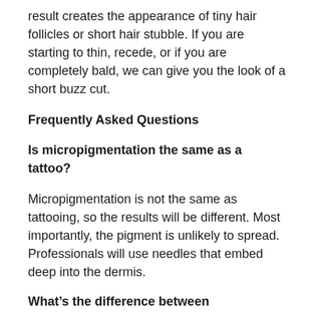result creates the appearance of tiny hair follicles or short hair stubble. If you are starting to thin, recede, or if you are completely bald, we can give you the look of a short buzz cut.
Frequently Asked Questions
Is micropigmentation the same as a tattoo?
Micropigmentation is not the same as tattooing, so the results will be different. Most importantly, the pigment is unlikely to spread. Professionals will use needles that embed deep into the dermis.
What's the difference between microblading and micropigmentation?
Microblading uses a handheld machine, such as a bladed pen or a small electric machine to create hair like strokes to mimic natural hair growth. However, micropigmentation or permanent makeup creates a shaded effect on the skin to give you the look of 'ombre brows'.